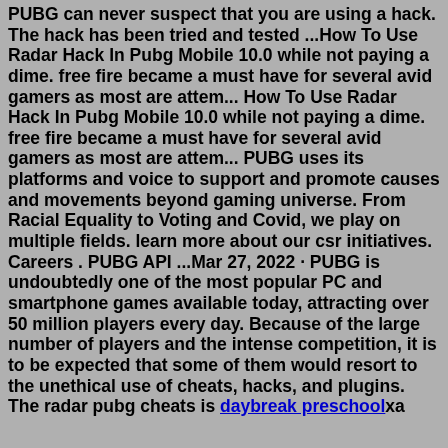PUBG can never suspect that you are using a hack. The hack has been tried and tested ...How To Use Radar Hack In Pubg Mobile 10.0 while not paying a dime. free fire became a must have for several avid gamers as most are attem... How To Use Radar Hack In Pubg Mobile 10.0 while not paying a dime. free fire became a must have for several avid gamers as most are attem... PUBG uses its platforms and voice to support and promote causes and movements beyond gaming universe. From Racial Equality to Voting and Covid, we play on multiple fields. learn more about our csr initiatives. Careers . PUBG API ...Mar 27, 2022 · PUBG is undoubtedly one of the most popular PC and smartphone games available today, attracting over 50 million players every day. Because of the large number of players and the intense competition, it is to be expected that some of them would resort to the unethical use of cheats, hacks, and plugins. The radar pubg cheats is daybreak preschoolxa